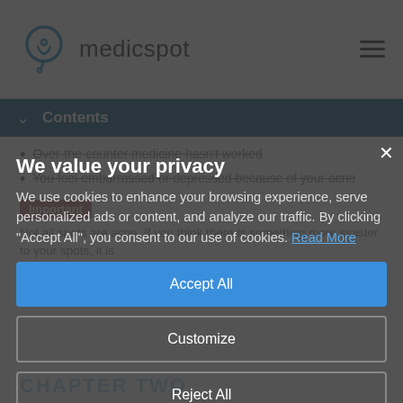medicspot
Contents
Over-the-counter medicine hasn't worked
You feel embarrassed or depressed because of your acne
Important
Not all spots are acne. If you think there is something more sinister to your spots, it is
CHAPTER TWO
We value your privacy
We use cookies to enhance your browsing experience, serve personalized ads or content, and analyze our traffic. By clicking "Accept All", you consent to our use of cookies. Read More
Accept All
Customize
Reject All